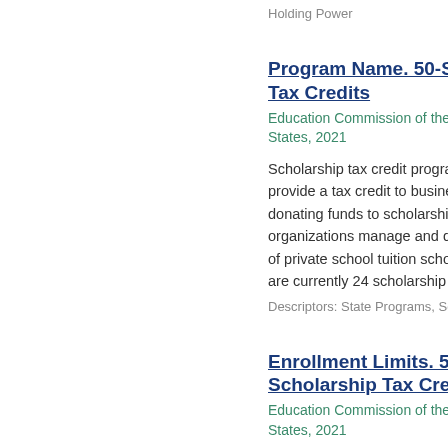Holding Power
Program Name. 50-State Co... Tax Credits
Education Commission of the States, 2021
Scholarship tax credit programs provide a tax credit to businesses a... donating funds to scholarship granti... organizations manage and distribute... of private school tuition scholarships... are currently 24 scholarship tax cre...
Descriptors: State Programs, Scholarsh...
Enrollment Limits. 50-State ... Scholarship Tax Credits
Education Commission of the States, 2021
Scholarship tax credit programs provide a tax credit to businesses a... donating funds to scholarship granti... organizations manage and distribute... of private school tuition scholarships... are currently 24 scholarship tax cre...